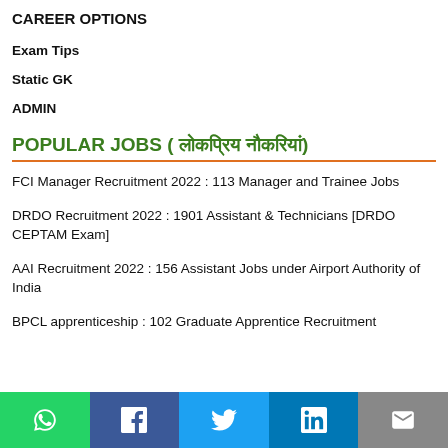CAREER OPTIONS
Exam Tips
Static GK
ADMIN
POPULAR JOBS ( लोकप्रिय नौकरियां)
FCI Manager Recruitment 2022 : 113 Manager and Trainee Jobs
DRDO Recruitment 2022 : 1901 Assistant & Technicians [DRDO CEPTAM Exam]
AAI Recruitment 2022 : 156 Assistant Jobs under Airport Authority of India
BPCL apprenticeship : 102 Graduate Apprentice Recruitment
Social share bar: WhatsApp, Facebook, Twitter, LinkedIn, Email